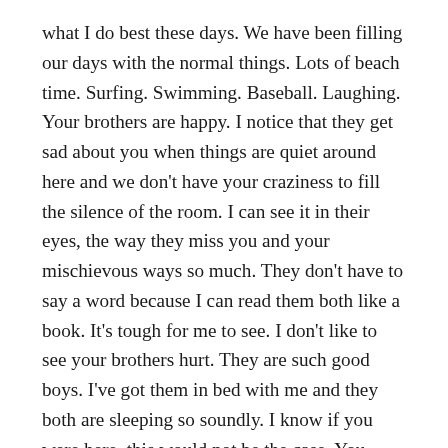what I do best these days. We have been filling our days with the normal things. Lots of beach time. Surfing. Swimming. Baseball. Laughing. Your brothers are happy. I notice that they get sad about you when things are quiet around here and we don't have your craziness to fill the silence of the room. I can see it in their eyes, the way they miss you and your mischievous ways so much. They don't have to say a word because I can read them both like a book. It's tough for me to see. I don't like to see your brothers hurt. They are such good boys. I've got them in bed with me and they both are sleeping so soundly. I know if you were here, this would not be the case. You would be snuggled up with me and your brothers would be sleeping together in their room. Or maybe by now, you would have wanted to be a big boy and sleep with your brothers in their room, without me. Either way sounds like heaven to me. It sounds so perfect compared to where you are now. Being